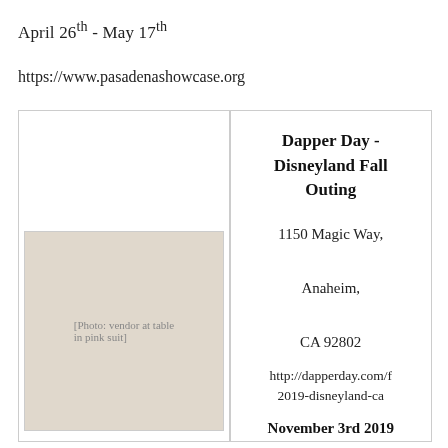April 26th - May 17th
https://www.pasadenashowcase.org
[Figure (photo): A person in a pink suit and bow tie stands behind a vendor table covered with small framed artworks, figurines, and various merchandise items. Blue floral arrangements and striped decorations are visible in the background.]
Dapper Day - Disneyland Fall Outing
1150 Magic Way, Anaheim, CA 92802
http://dapperday.com/f 2019-disneyland-ca
November 3rd 2019